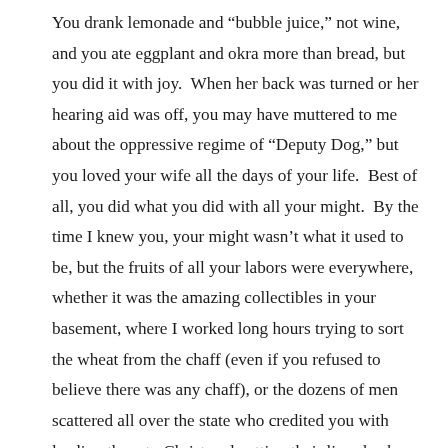You drank lemonade and “bubble juice,” not wine, and you ate eggplant and okra more than bread, but you did it with joy. When her back was turned or her hearing aid was off, you may have muttered to me about the oppressive regime of “Deputy Dog,” but you loved your wife all the days of your life. Best of all, you did what you did with all your might. By the time I knew you, your might wasn’t what it used to be, but the fruits of all your labors were everywhere, whether it was the amazing collectibles in your basement, where I worked long hours trying to sort the wheat from the chaff (even if you refused to believe there was any chaff), or the dozens of men scattered all over the state who credited you with leading them to Christ and getting their lives back on track. Growing up, it seemed I couldn’t meet anyone without hearing about something you had done for them or done for this